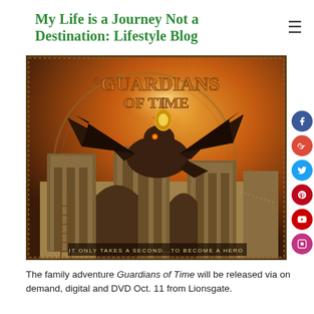My Life is a Journey Not a Destination: Lifestyle Blog
[Figure (photo): Movie poster for 'Guardians of Time' showing a dragon with spread wings in front of ancient stone structures, with the tagline 'IT ONLY TAKES A SECOND...TO BECOME A HERO']
The family adventure Guardians of Time will be released via on demand, digital and DVD Oct. 11 from Lionsgate.